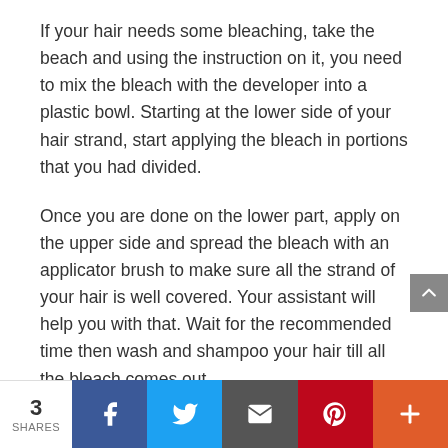If your hair needs some bleaching, take the beach and using the instruction on it, you need to mix the bleach with the developer into a plastic bowl. Starting at the lower side of your hair strand, start applying the bleach in portions that you had divided.
Once you are done on the lower part, apply on the upper side and spread the bleach with an applicator brush to make sure all the strand of your hair is well covered. Your assistant will help you with that. Wait for the recommended time then wash and shampoo your hair till all the bleach comes out.
While bleaching...
3 SHARES | Facebook | Twitter | Email | Pinterest | More